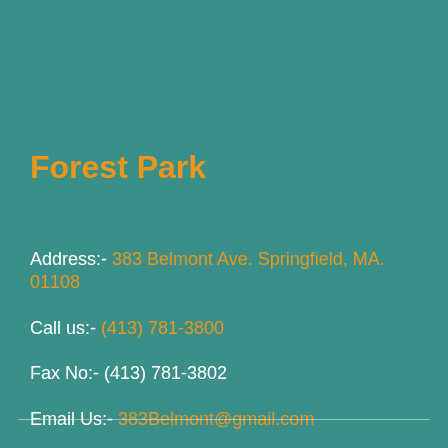Forest Park
Address:- 383 Belmont Ave. Springfield, MA. 01108
Call us:- (413) 781-3800
Fax No:- (413) 781-3802
Email Us:- 383Belmont@gmail.com